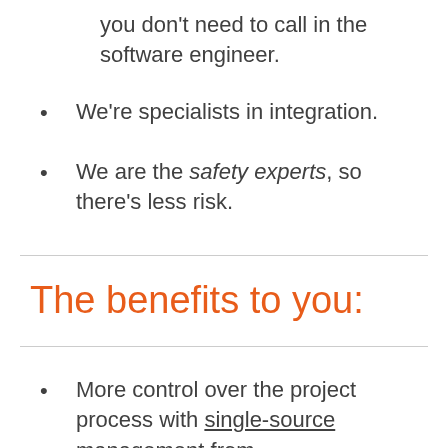you don't need to call in the software engineer.
We're specialists in integration.
We are the safety experts, so there's less risk.
The benefits to you:
More control over the project process with single-source management from